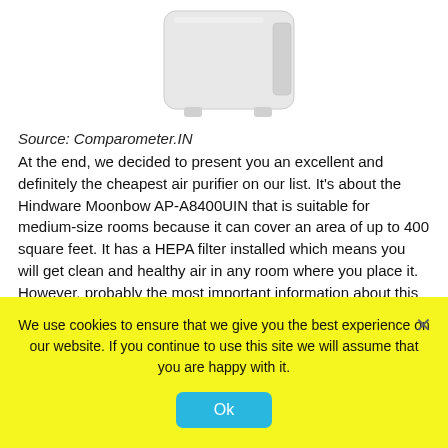[Figure (photo): Photo of Hindware Moonbow AP-A8400UIN air purifier — white boxy device with small feet, cropped at top]
Source: Comparometer.IN
At the end, we decided to present you an excellent and definitely the cheapest air purifier on our list. It's about the Hindware Moonbow AP-A8400UIN that is suitable for medium-size rooms because it can cover an area of up to 400 square feet. It has a HEPA filter installed which means you will get clean and healthy air in any room where you place it. However, probably the most important information about this device is its incredibly low price. Currently, the Hindware Moonbow AP-A8400UIN air purifier is available at a really affordable
We use cookies to ensure that we give you the best experience on our website. If you continue to use this site we will assume that you are happy with it.